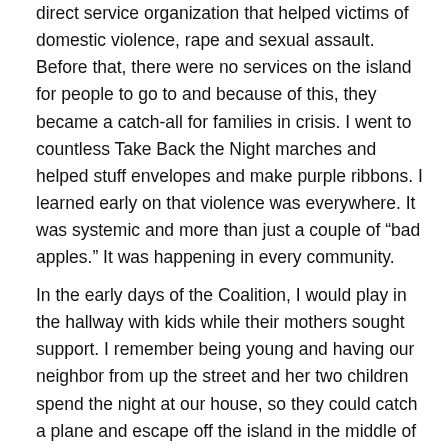direct service organization that helped victims of domestic violence, rape and sexual assault. Before that, there were no services on the island for people to go to and because of this, they became a catch-all for families in crisis. I went to countless Take Back the Night marches and helped stuff envelopes and make purple ribbons. I learned early on that violence was everywhere. It was systemic and more than just a couple of “bad apples.” It was happening in every community.
In the early days of the Coalition, I would play in the hallway with kids while their mothers sought support. I remember being young and having our neighbor from up the street and her two children spend the night at our house, so they could catch a plane and escape off the island in the middle of the night to escape her abusive